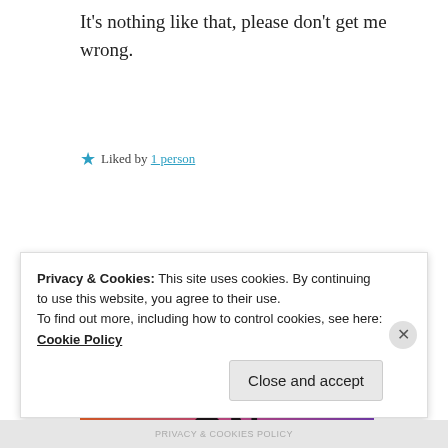It's nothing like that, please don't get me wrong.
★ Liked by 1 person
Advertisements
[Figure (illustration): Colorful Fandom advertisement banner with orange-to-purple gradient background, featuring a sailboat sticker, skull, geometric shapes, doodles, music notes, and the word FANDOM in large black letters.]
Privacy & Cookies: This site uses cookies. By continuing to use this website, you agree to their use.
To find out more, including how to control cookies, see here: Cookie Policy
Close and accept